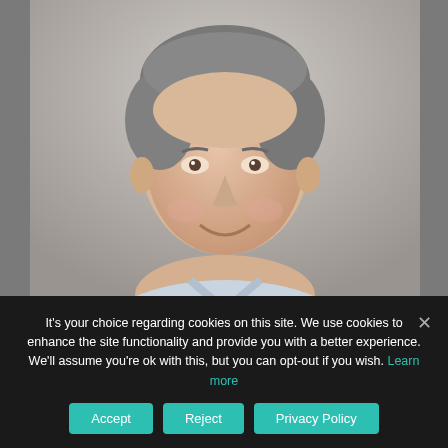[Figure (photo): Professional headshot of a middle-aged man with grey hair, smiling, wearing a light blue collared shirt, against a light grey background.]
YOU CAN'T PUT A PRICE ON THE QUALITY OF REINFORCING
July 28, 2022
It's your choice regarding cookies on this site. We use cookies to enhance the site functionality and provide you with a better experience. We'll assume you're ok with this, but you can opt-out if you wish. Learn more
Accept | Reject | Privacy Policy